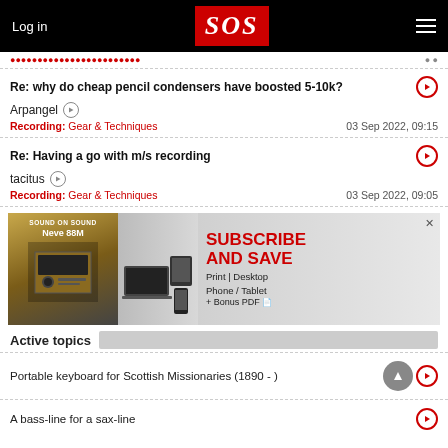Log in | SOS | Menu
Re: why do cheap pencil condensers have boosted 5-10k? | Arpangel | Recording: Gear & Techniques | 03 Sep 2022, 09:15
Re: Having a go with m/s recording | tacitus | Recording: Gear & Techniques | 03 Sep 2022, 09:05
[Figure (illustration): Sound On Sound magazine subscription advertisement showing magazine covers and digital devices. Text: SUBSCRIBE AND SAVE Print | Desktop Phone / Tablet + Bonus PDF]
Active topics
Portable keyboard for Scottish Missionaries (1890 - )
A bass-line for a sax-line